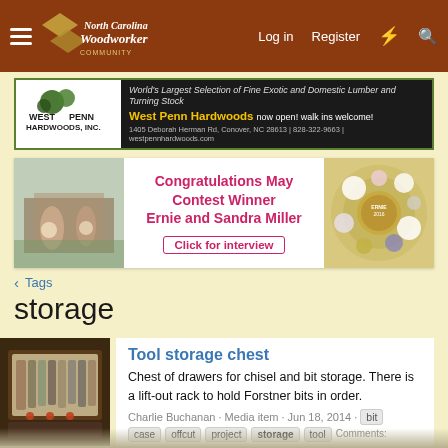North Carolina Woodworker - Log in  Register
[Figure (photo): West Penn Hardwoods advertisement banner - World's Largest Selection of Fine Exotic and Domestic Lumber and Turning Stock. West Penn Hardwoods now open! walk ins welcome! 1405 Deborah Herman Rd, Conover, NC 28613 | 828-322-9663 | westpennhardwoods.com]
[Figure (photo): Contest winner announcement banner - Congratulations May Contest Winner Ernie and Sandra Miller - Click for interview. Left photo shows couple with a table, right photo shows decorative woodwork with flowers]
< Tags
storage
[Figure (photo): Tool storage chest - chest of drawers for chisel and bit storage]
Tool storage chest
Chest of drawers for chisel and bit storage. There is a lift-out rack to hold Forstner bits in order.
Charlie Buchanan · Media item · Jun 18, 2014 · bit case offcut project storage tool Comments: